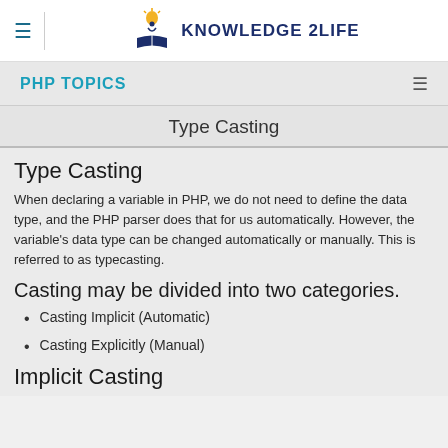[Figure (logo): Knowledge 2Life logo with lightbulb and open book icon, dark blue text reading KNOWLEDGE 2LIFE]
PHP TOPICS
Type Casting
Type Casting
When declaring a variable in PHP, we do not need to define the data type, and the PHP parser does that for us automatically. However, the variable's data type can be changed automatically or manually. This is referred to as typecasting.
Casting may be divided into two categories.
Casting Implicit (Automatic)
Casting Explicitly (Manual)
Implicit Casting